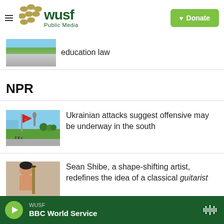WUSF Public Media — Donate
[Figure (photo): Partial thumbnail of a news article about education law]
education law
NPR
[Figure (photo): Photo of a Ukrainian cityscape with a red flag and monument]
Ukrainian attacks suggest offensive may be underway in the south
[Figure (photo): Photo of Sean Shibe holding a guitar]
Sean Shibe, a shape-shifting artist, redefines the idea of a classical guitarist
WUSF — BBC World Service (player bar)